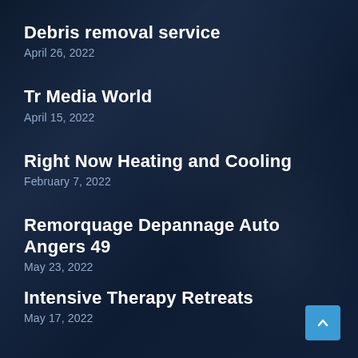Debris removal service
April 26, 2022
Tr Media World
April 15, 2022
Right Now Heating and Cooling
February 7, 2022
Remorquage Depannage Auto Angers 49
May 23, 2022
Intensive Therapy Retreats
May 17, 2022